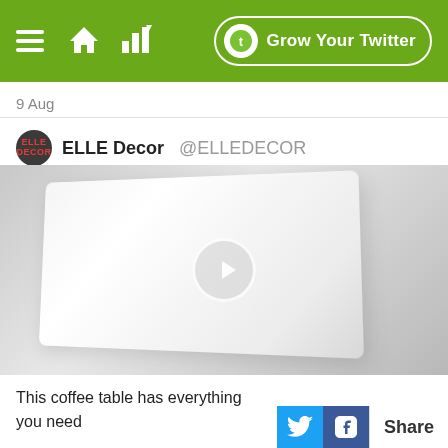Grow Your Twitter
9 Aug
ELLE Decor @ELLEDECOR
[Figure (screenshot): Video thumbnail showing a white rectangular coffee table/box on a gray background with a circular play button overlay in the center]
This coffee table has everything you need